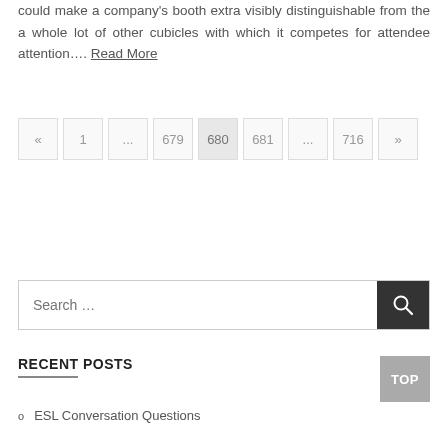could make a company's booth extra visibly distinguishable from the a whole lot of other cubicles with which it competes for attendee attention.... Read More
« 1 ... 679 680 681 ... 716 »
Search ...
RECENT POSTS
ESL Conversation Questions